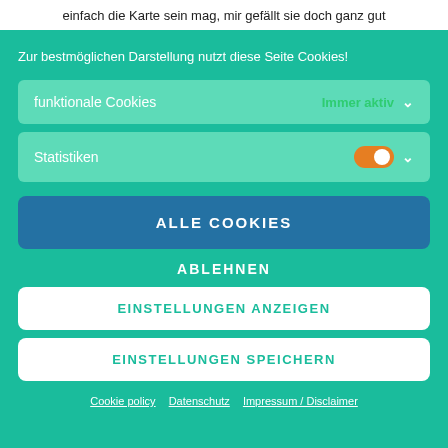einfach die Karte sein mag, mir gefällt sie doch ganz gut
Zur bestmöglichen Darstellung nutzt diese Seite Cookies!
funktionale Cookies
Immer aktiv
Statistiken
ALLE COOKIES
ABLEHNEN
EINSTELLUNGEN ANZEIGEN
EINSTELLUNGEN SPEICHERN
Cookie policy   Datenschutz   Impressum / Disclaimer